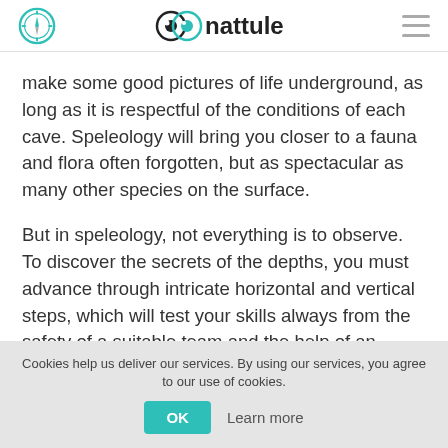nattule
make some good pictures of life underground, as long as it is respectful of the conditions of each cave. Speleology will bring you closer to a fauna and flora often forgotten, but as spectacular as many other species on the surface.
But in speleology, not everything is to observe. To discover the secrets of the depths, you must advance through intricate horizontal and vertical steps, which will test your skills always from the safety of a suitable team and the help of an expert guide. Not in vain is considered a sport and often reaches the condition of risk, but it will be up to you to choose the experience that best suits your interests and your abilities. Choose the option you choose, the
Cookies help us deliver our services. By using our services, you agree to our use of cookies. OK Learn more